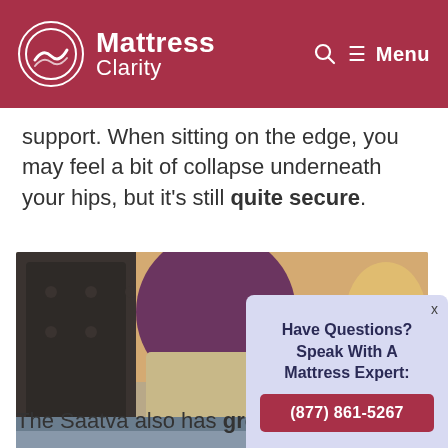Mattress Clarity
support. When sitting on the edge, you may feel a bit of collapse underneath your hips, but it's still quite secure.
[Figure (photo): Person in purple shirt and khaki shorts sitting on the edge of a mattress, pressing hand on mattress surface, with a tufted headboard and lamp visible in background.]
The Saatva also has great edge s
Have Questions? Speak With A Mattress Expert: (877) 861-5267